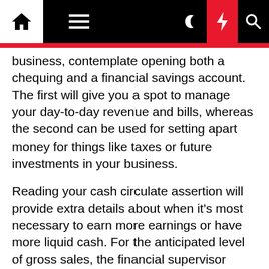Navigation bar with home, menu, moon, bolt, and search icons
business, contemplate opening both a chequing and a financial savings account. The first will give you a spot to manage your day-to-day revenue and bills, whereas the second can be used for setting apart money for things like taxes or future investments in your business.
Reading your cash circulate assertion will provide extra details about when it's most necessary to earn more earnings or have more liquid cash. For the anticipated level of gross sales, the financial supervisor estimates the funds that will be obtainable from the company's operations and compares this quantity with what might be wanted to pay for the model new mounted property (machinery, equipment, and so forth.). If the growth rate exceeds 10 percent a yr, asset necessities are